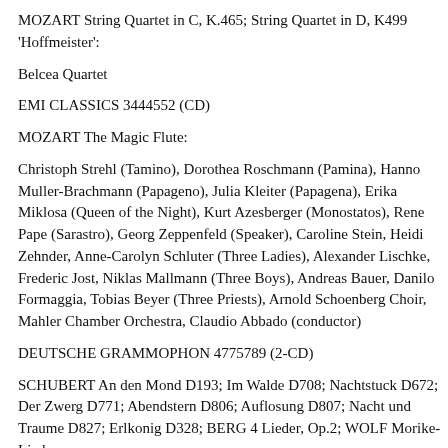MOZART String Quartet in C, K.465; String Quartet in D, K499 'Hoffmeister':
Belcea Quartet
EMI CLASSICS 3444552 (CD)
MOZART The Magic Flute:
Christoph Strehl (Tamino), Dorothea Roschmann (Pamina), Hanno Muller-Brachmann (Papageno), Julia Kleiter (Papagena), Erika Miklosa (Queen of the Night), Kurt Azesberger (Monostatos), Rene Pape (Sarastro), Georg Zeppenfeld (Speaker), Caroline Stein, Heidi Zehnder, Anne-Carolyn Schluter (Three Ladies), Alexander Lischke, Frederic Jost, Niklas Mallmann (Three Boys), Andreas Bauer, Danilo Formaggia, Tobias Beyer (Three Priests), Arnold Schoenberg Choir, Mahler Chamber Orchestra, Claudio Abbado (conductor)
DEUTSCHE GRAMMOPHON 4775789 (2-CD)
SCHUBERT An den Mond D193; Im Walde D708; Nachtstuck D672; Der Zwerg D771; Abendstern D806; Auflosung D807; Nacht und Traume D827; Erlkonig D328; BERG 4 Lieder, Op.2; WOLF Morike-Lieder: